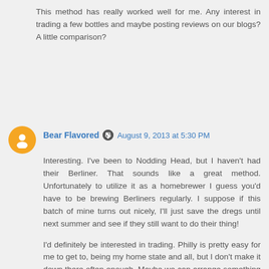This method has really worked well for me. Any interest in trading a few bottles and maybe posting reviews on our blogs? A little comparison?
Bear Flavored   August 9, 2013 at 5:30 PM
Interesting. I've been to Nodding Head, but I haven't had their Berliner. That sounds like a great method. Unfortunately to utilize it as a homebrewer I guess you'd have to be brewing Berliners regularly. I suppose if this batch of mine turns out nicely, I'll just save the dregs until next summer and see if they still want to do their thing!
I'd definitely be interested in trading. Philly is pretty easy for me to get to, being my home state and all, but I don't make it down there often enough. Maybe we can arrange something in a few months?